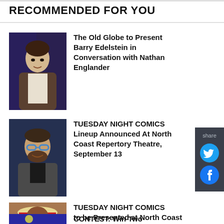RECOMMENDED FOR YOU
[Figure (photo): Headshot of a man in a brown jacket against a dark background]
The Old Globe to Present Barry Edelstein in Conversation with Nathan Englander
[Figure (photo): Headshot of a bearded man with blue glasses smiling against a blue background]
TUESDAY NIGHT COMICS Lineup Announced At North Coast Repertory Theatre, September 13
[Figure (photo): Man wearing a white hat and red shirt]
TUESDAY NIGHT COMICS to be Presented at North Coast Repertory Theatre in September
[Figure (photo): Partial image at bottom of page]
CONTEST: Win Two